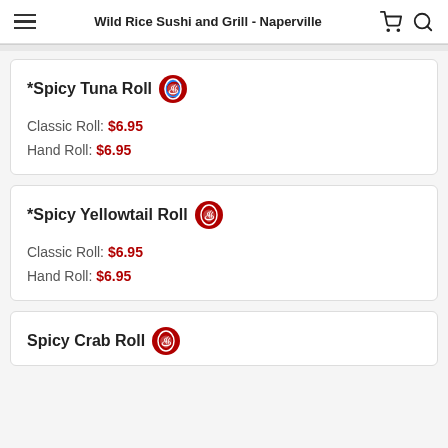Wild Rice Sushi and Grill - Naperville
*Spicy Tuna Roll
Classic Roll: $6.95
Hand Roll: $6.95
*Spicy Yellowtail Roll
Classic Roll: $6.95
Hand Roll: $6.95
Spicy Crab Roll